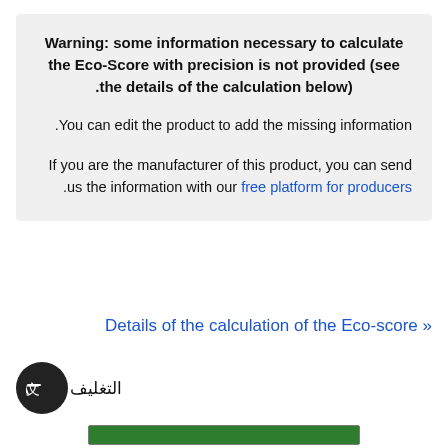Warning: some information necessary to calculate the Eco-Score with precision is not provided (see the details of the calculation below).

You can edit the product to add the missing information.

If you are the manufacturer of this product, you can send us the information with our free platform for producers.
« Details of the calculation of the Eco-score
[Figure (other): Translation button icon (A with Chinese character) on dark circular badge, with Arabic text partial]